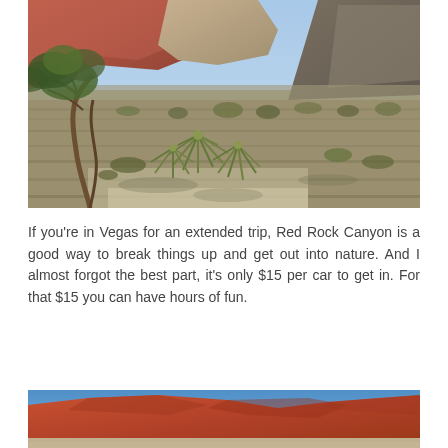[Figure (photo): Landscape photo of Red Rock Canyon desert scene with scrub brush, yucca plants, a twisted juniper tree on the left, gravel ground, and red/orange rocky mountains in the background under a blue sky.]
If you're in Vegas for an extended trip, Red Rock Canyon is a good way to break things up and get out into nature. And I almost forgot the best part, it's only $15 per car to get in. For that $15 you can have hours of fun.
[Figure (photo): Photo of Red Rock Canyon showing close-up view of large orange-red sandstone rock formations against a clear blue sky.]